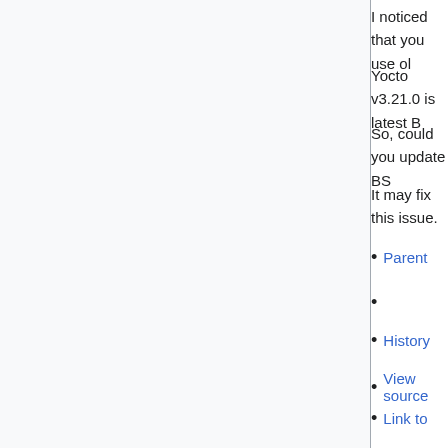I noticed that you use old...
Yocto v3.21.0 is latest B...
So, could you update BS...
It may fix this issue.
Parent
History
View source
Link to
Mark as read
Full thread
From Talk:R-Car/Boards/Yocto-Gen3
Y.H. (talk)
00:13, 3 April 2020
Thank you for the reply.
I also tried Yocto v3.21.0...
But I was unable to acce...
Parent
History